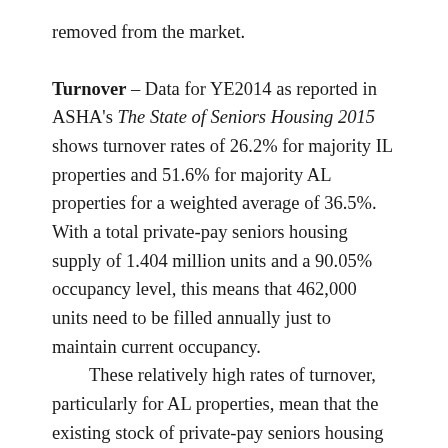removed from the market.
Turnover – Data for YE2014 as reported in ASHA's The State of Seniors Housing 2015 shows turnover rates of 26.2% for majority IL properties and 51.6% for majority AL properties for a weighted average of 36.5%.   With a total private-pay seniors housing supply of 1.404 million units and a 90.05% occupancy level, this means that 462,000 units need to be filled annually just to maintain current occupancy.   These relatively high rates of turnover, particularly for AL properties, mean that the existing stock of private-pay seniors housing is constantly competing with any newly constructed units and any degree of